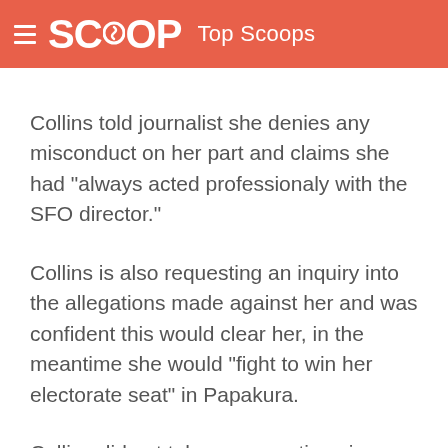SCOOP Top Scoops
Collins told journalist she denies any misconduct on her part and claims she had “always acted professionaly with the SFO director.”
Collins is also requesting an inquiry into the allegations made against her and was confident this would clear her, in the meantime she would “fight to win her electorate seat” in Papakura.
Collins did not take any questions in a brief press